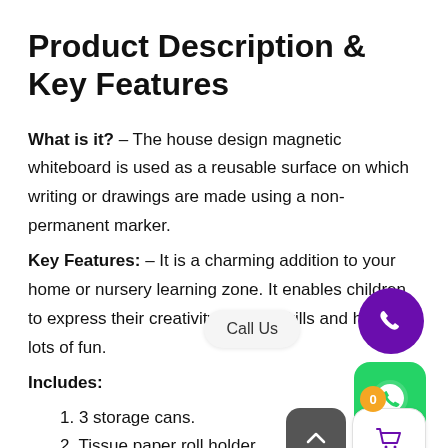Product Description & Key Features
What is it? – The house design magnetic whiteboard is used as a reusable surface on which writing or drawings are made using a non-permanent marker.
Key Features: – It is a charming addition to your home or nursery learning zone. It enables children to express their creativity, artistic skills and have lots of fun.
Includes:
1. 3 storage cans.
2. Tissue paper roll holder.
Attention:
[Figure (infographic): UI overlay elements: Call Us button, purple phone circle, green WhatsApp icon, shopping cart button with badge showing 0, and scroll-up arrow button]